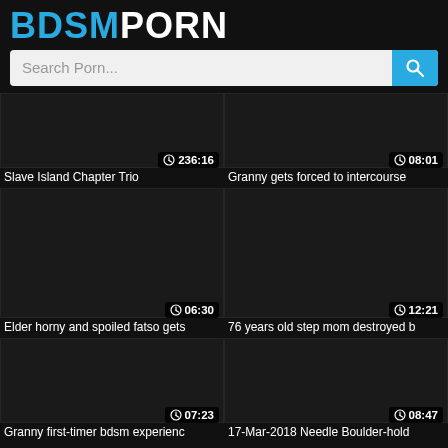BDSMPORN
Search Porn...
[Figure (screenshot): Dark video thumbnail with duration 236:16]
Slave Island Chapter Trio
[Figure (screenshot): Dark video thumbnail with duration 08:01]
Granny gets forced to intercourse
[Figure (screenshot): Dark video thumbnail with duration 06:30]
Elder horny and spoiled fatso gets
[Figure (screenshot): Dark video thumbnail with duration 12:21]
76 years old step mom destroyed b
[Figure (screenshot): Dark video thumbnail with duration 07:23]
Granny first-timer bdsm experienc
[Figure (screenshot): Dark video thumbnail with duration 08:47]
17-Mar-2018 Needle Boulder-hold